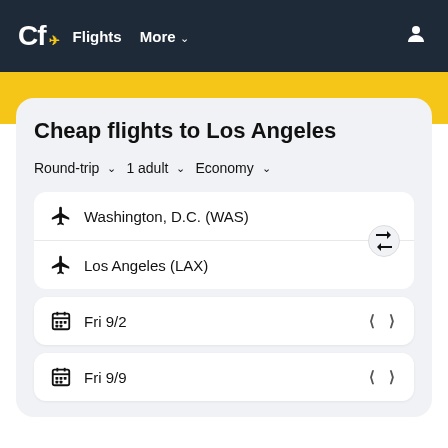Cf Flights More
Cheap flights to Los Angeles
Round-trip ∨  1 adult ∨  Economy ∨
Washington, D.C. (WAS)
Los Angeles (LAX)
Fri 9/2
Fri 9/9